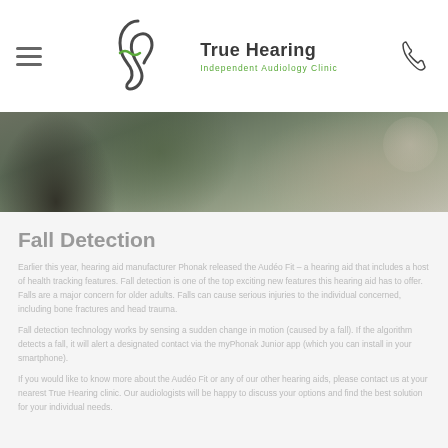True Hearing Independent Audiology Clinic
[Figure (photo): People dining at a restaurant table, food and drinks visible, dark and warm tones]
Fall Detection
Earlier this year, hearing aid manufacturer Phonak released the Audéo Fit – a hearing aid that includes a host of health tracking features. Fall detection is one of the top exciting new features this hearing aid has to offer. Falls are a major concern for older adults. Falls can cause serious injuries to the individual concerned, including bone fractures and head trauma.
Fall detection technology works by sensing a sudden change in motion (caused by a fall). If the algorithm detects a fall, it will alert a designated contact via the myPhonak Junior app (which you can install in your smartphone).